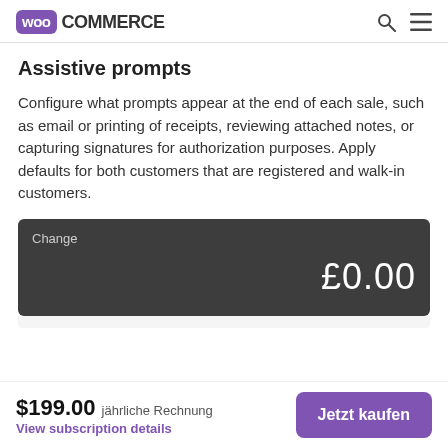WooCommerce
Assistive prompts
Configure what prompts appear at the end of each sale, such as email or printing of receipts, reviewing attached notes, or capturing signatures for authorization purposes. Apply defaults for both customers that are registered and walk-in customers.
[Figure (screenshot): Dark UI card showing 'Change' label and amount £0.00 in white text on dark grey background]
$199.00 jährliche Rechnung
View subscription details
Jetzt kaufen